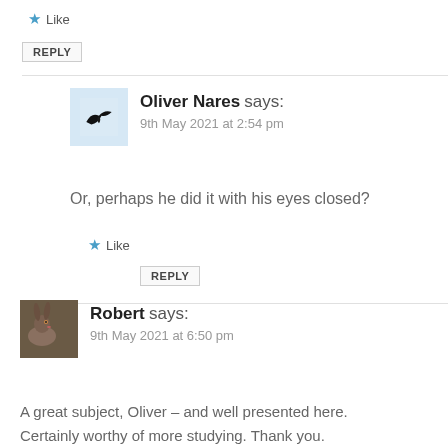★ Like
REPLY
Oliver Nares says:
9th May 2021 at 2:54 pm
Or, perhaps he did it with his eyes closed?
★ Like
REPLY
Robert says:
9th May 2021 at 6:50 pm
A great subject, Oliver – and well presented here. Certainly worthy of more studying. Thank you.